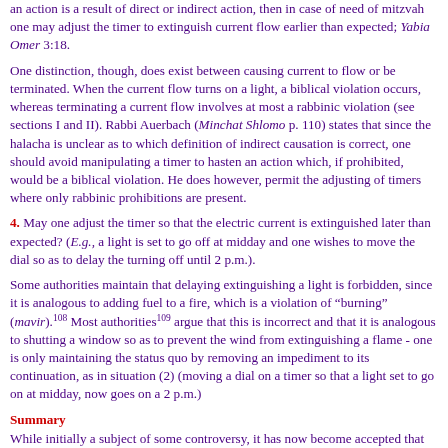an action is a result of direct or indirect action, then in case of need of mitzvah one may adjust the timer to extinguish current flow earlier than expected; Yabia Omer 3:18.
One distinction, though, does exist between causing current to flow or be terminated. When the current flow turns on a light, a biblical violation occurs, whereas terminating a current flow involves at most a rabbinic violation (see sections I and II). Rabbi Auerbach (Minchat Shlomo p. 110) states that since the halacha is unclear as to which definition of indirect causation is correct, one should avoid manipulating a timer to hasten an action which, if prohibited, would be a biblical violation. He does however, permit the adjusting of timers where only rabbinic prohibitions are present.
4. May one adjust the timer so that the electric current is extinguished later than expected? (E.g., a light is set to go off at midday and one wishes to move the dial so as to delay the turning off until 2 p.m.).
Some authorities maintain that delaying extinguishing a light is forbidden, since it is analogous to adding fuel to a fire, which is a violation of "burning" (mavir).108 Most authorities109 argue that this is incorrect and that it is analogous to shutting a window so as to prevent the wind from extinguishing a flame - one is only maintaining the status quo by removing an impediment to its continuation, as in situation (2) (moving a dial on a timer so that a light set to go on at midday, now goes on a 2 p.m.)
Summary
While initially a subject of some controversy, it has now become accepted that one may use a timer set on Friday to control all appliances. The issue of adjusting timers on Shabbat has yet to be settled. Some authorities prohibit any